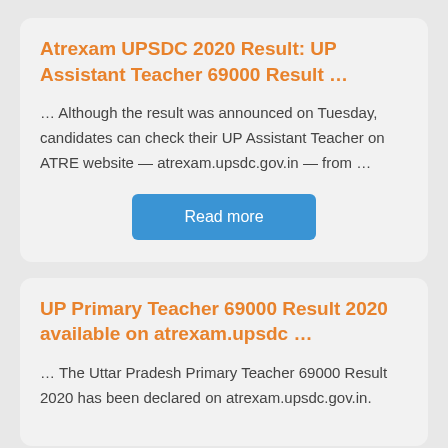Atrexam UPSDC 2020 Result: UP Assistant Teacher 69000 Result …
… Although the result was announced on Tuesday, candidates can check their UP Assistant Teacher on ATRE website — atrexam.upsdc.gov.in — from …
Read more
UP Primary Teacher 69000 Result 2020 available on atrexam.upsdc …
… The Uttar Pradesh Primary Teacher 69000 Result 2020 has been declared on atrexam.upsdc.gov.in.